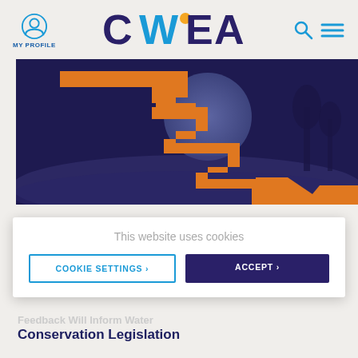[Figure (logo): CWEA website header with My Profile icon, CWEA logo (blue and orange letters), search icon, and hamburger menu icon on a light beige background]
[Figure (photo): Hero image showing an orange 3D zigzag arrow pointing downward-right over a dark blue/purple misty landscape background]
This website uses cookies
COOKIE SETTINGS ›
ACCEPT ›
Conservation Legislation